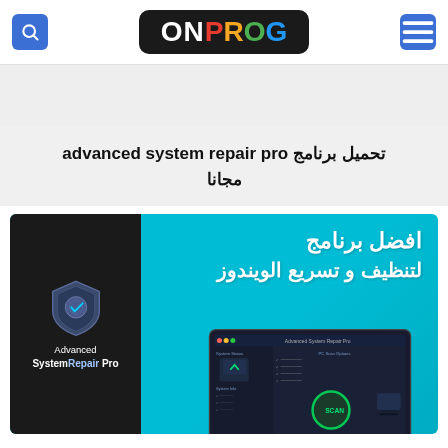ON PROG logo with search and menu icons
تحميل برنامج advanced system repair pro مجانا
[Figure (screenshot): Advanced System Repair Pro promotional banner with dark left panel showing shield logo and 'Advanced SystemRepair Pro' text, and cyan/blue right panel with Arabic text 'افضل برنامج لتنظيف و تسريع الويندوز' and a software screenshot at the bottom]